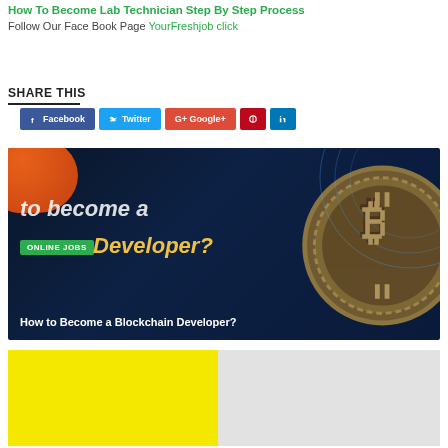How To Become Lab Technician Step By Step Process
Follow Our Face Book Page YourFreshjob click
SHARE THIS
[Figure (screenshot): Social share buttons: Facebook, Twitter, Google+, Pinterest, LinkedIn]
[Figure (photo): How to Become a Blockchain Developer? promotional image with bitcoin coin, orange accent, ONLINE JOBS badge, and yellow developer text on dark blue background]
How to Become a Blockchain Developer?
[Figure (photo): Partially visible image with yellow left half and gray right half at bottom of page]